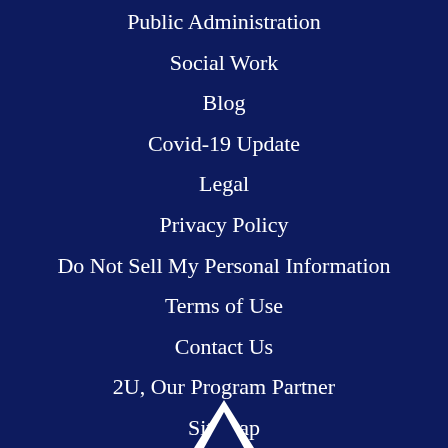Public Administration
Social Work
Blog
Covid-19 Update
Legal
Privacy Policy
Do Not Sell My Personal Information
Terms of Use
Contact Us
2U, Our Program Partner
Sitemap
[Figure (logo): White logo mark at the bottom center of the page]